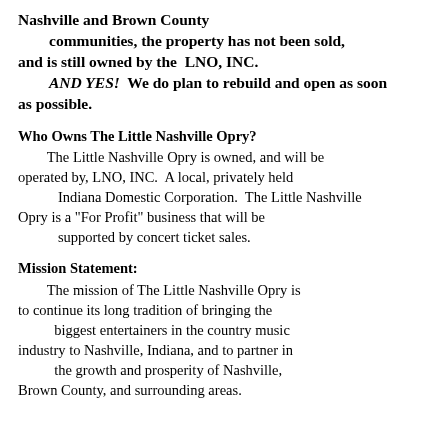Nashville and Brown County communities, the property has not been sold, and is still owned by the LNO, INC. AND YES! We do plan to rebuild and open as soon as possible.
Who Owns The Little Nashville Opry?
The Little Nashville Opry is owned, and will be operated by, LNO, INC. A local, privately held Indiana Domestic Corporation. The Little Nashville Opry is a "For Profit" business that will be supported by concert ticket sales.
Mission Statement:
The mission of The Little Nashville Opry is to continue its long tradition of bringing the biggest entertainers in the country music industry to Nashville, Indiana, and to partner in the growth and prosperity of Nashville, Brown County, and surrounding areas.